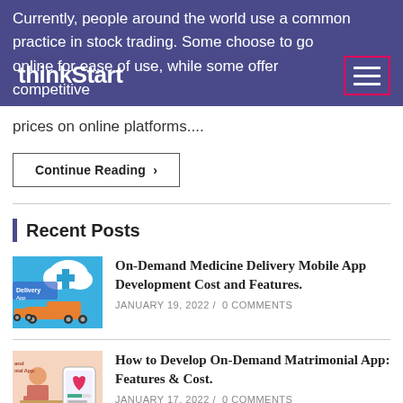thinkStart
Currently, people around the world use a common practice in stock trading. Some choose to go online for ease of use, while some offer competitive prices on online platforms....
Continue Reading ▸
Recent Posts
On-Demand Medicine Delivery Mobile App Development Cost and Features.
JANUARY 19, 2022 /  0 COMMENTS
How to Develop On-Demand Matrimonial App: Features & Cost.
JANUARY 17, 2022 /  0 COMMENTS